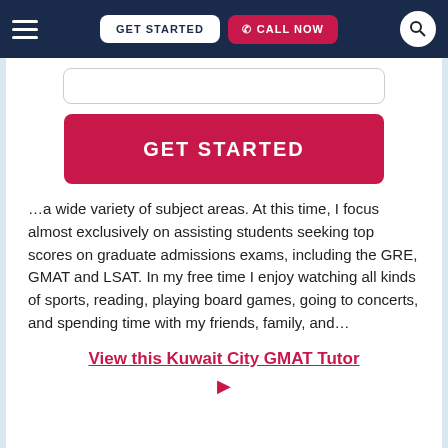GET STARTED | CALL NOW
[Figure (screenshot): Input field stub (partially visible form field)]
[Figure (screenshot): GET STARTED button (pink/red CTA button)]
…a wide variety of subject areas. At this time, I focus almost exclusively on assisting students seeking top scores on graduate admissions exams, including the GRE, GMAT and LSAT. In my free time I enjoy watching all kinds of sports, reading, playing board games, going to concerts, and spending time with my friends, family, and…
View this Kuwait City GMAT Tutor